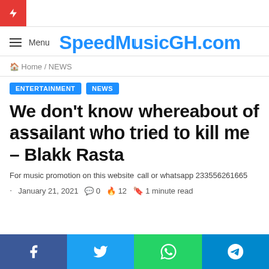SpeedMusicGH.com — Menu
Home / NEWS
ENTERTAINMENT   NEWS
We don't know whereabout of assailant who tried to kill me – Blakk Rasta
For music promotion on this website call or whatsapp 233556261665
January 21, 2021   0   12   1 minute read